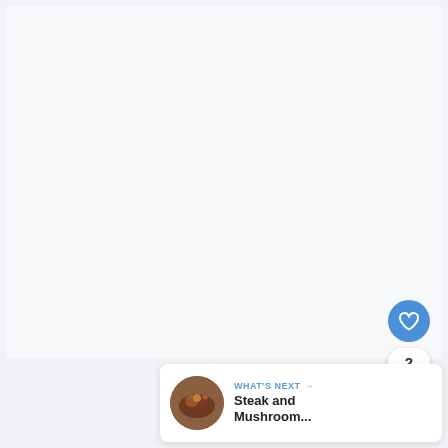[Figure (screenshot): Light gray/white main content area (empty or image not loaded), with like button (blue circle, heart icon), count badge showing 2, share button (white circle, share icon), and a What's Next card at bottom right showing a thumbnail of steak and mushroom dish.]
2
WHAT'S NEXT → Steak and Mushroom...